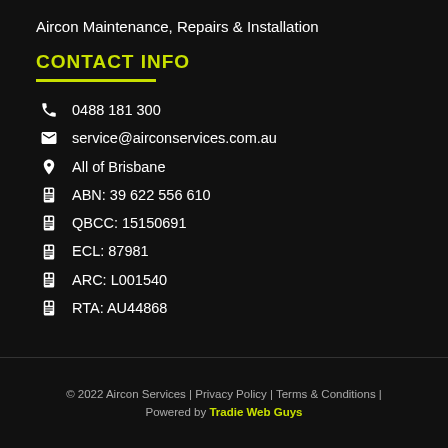Aircon Maintenance, Repairs & Installation
CONTACT INFO
0488 181 300
service@airconservices.com.au
All of Brisbane
ABN: 39 622 556 610
QBCC: 15150691
ECL: 87981
ARC: L001540
RTA: AU44868
© 2022 Aircon Services | Privacy Policy | Terms & Conditions | Powered by Tradie Web Guys